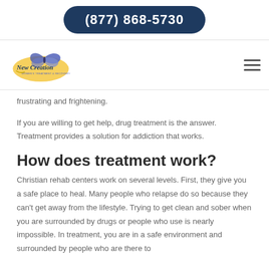(877) 868-5730
[Figure (logo): New Creation Women's Treatment & Recovery logo with butterfly and script text]
frustrating and frightening.
If you are willing to get help, drug treatment is the answer. Treatment provides a solution for addiction that works.
How does treatment work?
Christian rehab centers work on several levels. First, they give you a safe place to heal. Many people who relapse do so because they can't get away from the lifestyle. Trying to get clean and sober when you are surrounded by drugs or people who use is nearly impossible. In treatment, you are in a safe environment and surrounded by people who are there to